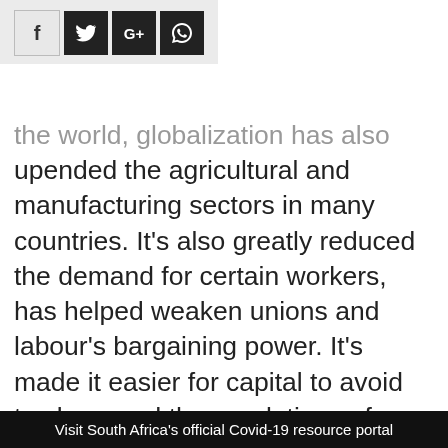[Figure (other): Social media share buttons: Facebook (f), Twitter (bird icon), Google+ (G+), WhatsApp (phone icon). First button light background, others dark background.]
the world, globalization has also upended the agricultural and manufacturing sectors in many countries. It’s also greatly reduced the demand for certain workers, has helped weaken unions and labour’s bargaining power. It’s made it easier for capital to avoid tax laws and the regulations of nation-states – can just move billions, trillions of dollars with a tap of a computer key.
Visit South Africa's official Covid-19 resource portal